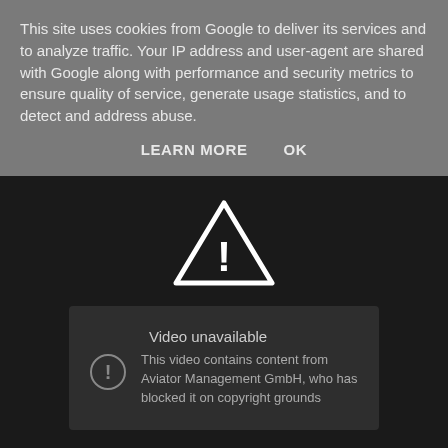This site uses cookies from Google to deliver its services and to analyze traffic. Your IP address and user-agent are shared with Google along with performance and security metrics to ensure quality of service, generate usage statistics, and to detect and address abuse.
LEARN MORE    OK
[Figure (screenshot): Warning triangle icon with exclamation mark, white outline on dark background]
[Figure (screenshot): Video unavailable card with circle-exclamation icon. Title: Video unavailable. Message: This video contains content from Aviator Management GmbH, who has blocked it on copyright grounds]